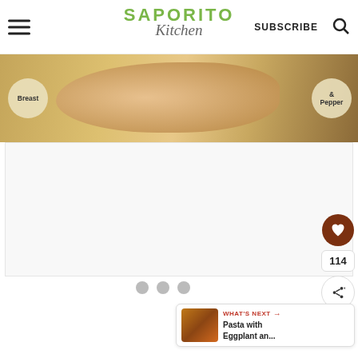[Figure (logo): Saporito Kitchen website header with hamburger menu, logo, SUBSCRIBE button, and search icon]
[Figure (photo): Top portion of a food photo showing chicken breast and pepper labels on circular overlays]
[Figure (screenshot): White content loading area with three gray dots indicating a slideshow or loading carousel]
[Figure (infographic): Sidebar social buttons: heart/save button with count 114, and share button]
[Figure (infographic): WHAT'S NEXT widget showing Pasta with Eggplant an... with thumbnail]